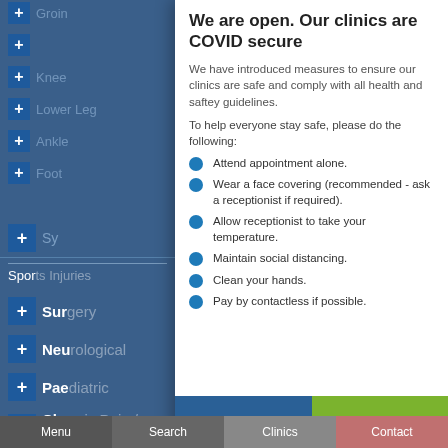Groin
Knee
Lower Leg
Ankle
Foot
Symptoms
Sports Injuries
Surgery
Neurological
Paediatric
Chronic Pain / Fatigue
Amputees
We are open. Our clinics are COVID secure
We have introduced measures to ensure our clinics are safe and comply with all health and saftey guidelines.
To help everyone stay safe, please do the following:
Attend appointment alone.
Wear a face covering (recommended - ask a receptionist if required).
Allow receptionist to take your temperature.
Maintain social distancing.
Clean your hands.
Pay by contactless if possible.
Close
Book now
Menu  Search  Clinics  Contact